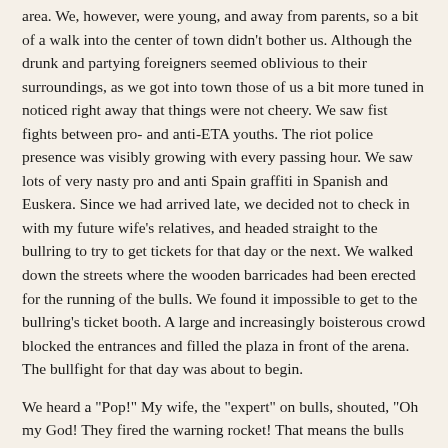area. We, however, were young, and away from parents, so a bit of a walk into the center of town didn't bother us. Although the drunk and partying foreigners seemed oblivious to their surroundings, as we got into town those of us a bit more tuned in noticed right away that things were not cheery. We saw fist fights between pro- and anti-ETA youths. The riot police presence was visibly growing with every passing hour. We saw lots of very nasty pro and anti Spain graffiti in Spanish and Euskera. Since we had arrived late, we decided not to check in with my future wife's relatives, and headed straight to the bullring to try to get tickets for that day or the next. We walked down the streets where the wooden barricades had been erected for the running of the bulls. We found it impossible to get to the bullring's ticket booth. A large and increasingly boisterous crowd blocked the entrances and filled the plaza in front of the arena. The bullfight for that day was about to begin.

We heard a "Pop!" My wife, the "expert" on bulls, shouted, "Oh my God! They fired the warning rocket! That means the bulls will be charging down this street!" She then did a move that would have made Fosbury proud; she made it over the wooden barricades in record time. I move slower, and remember saying, "The bulls don't run in the afternoon." Another "Pop!" There was a rising ride...